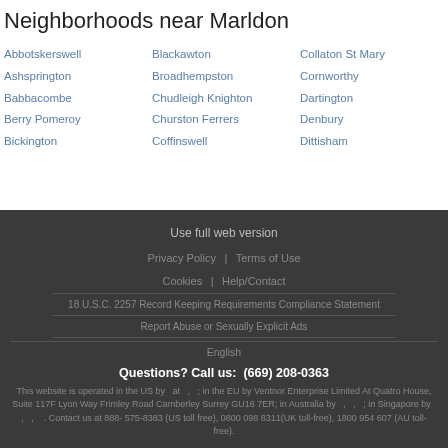Neighborhoods near Marldon
Abbotskerswell
Ashsprington
Babbacombe
Berry Pomeroy
Bickington
Blackawton
Broadhempston
Chudleigh Knighton
Churston Ferrers
Coffinswell
Collaton St Mary
Cornworthy
Dartington
Denbury
Dittisham
Use full web version
Privacy Policy | Terms of Use
Cookies | Help/Contact
18 U.S.C. 2257 Record Keeping Requirements Compliance Statement
Report Abuse or Sexually Explicit Ads
English
Questions? Call us: (669) 208-0363
This website is operated in the US by at , ; in the EU by Ventnor Enterprise Limited At Quatro House, Suite 117F Lyon Way Frimley Road Camberley Surrey GU16 7ER; in Australia by , , ; in Singapore by , , . Contact us at 888-575-8383 (US toll free), 0800 098 8311(UK toll-free), 1800 954 607 (AU toll-free).